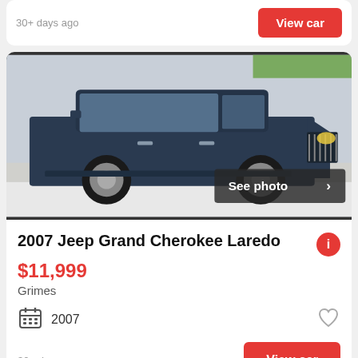30+ days ago
View car
[Figure (photo): Dark blue/navy 2007 Jeep Grand Cherokee Laredo SUV parked on a snowy surface, photographed from a front-left angle. A 'See photo >' overlay appears in the bottom right of the image.]
2007 Jeep Grand Cherokee Laredo
$11,999
Grimes
2007
30+ days ago
View car